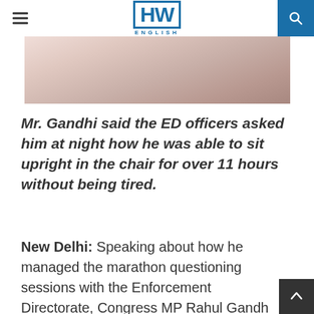HW ENGLISH
[Figure (photo): Partial photo of a person in light colored clothing, cropped at top]
Mr. Gandhi said the ED officers asked him at night how he was able to sit upright in the chair for over 11 hours without being tired.
New Delhi: Speaking about how he managed the marathon questioning sessions with the Enforcement Directorate, Congress MP Rahul Gandhi